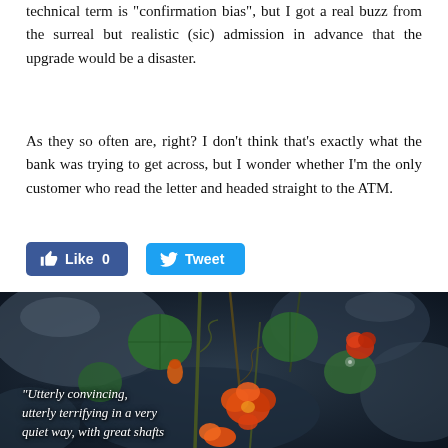technical term is "confirmation bias", but I got a real buzz from the surreal but realistic (sic) admission in advance that the upgrade would be a disaster.
As they so often are, right? I don't think that's exactly what the bank was trying to get across, but I wonder whether I'm the only customer who read the letter and headed straight to the ATM.
[Figure (screenshot): Facebook Like button (0 likes) and Twitter Tweet button, displayed as blue rounded rectangle social sharing buttons]
[Figure (photo): Close-up photograph of orange nasturtium flowers with green round leaves climbing against a dark rocky background. Overlaid italic text reads: “Utterly convincing, utterly terrifying in a very quiet way, with great shafts]
“Utterly convincing, utterly terrifying in a very quiet way, with great shafts